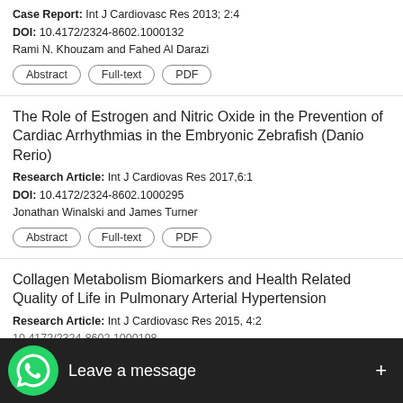Case Report: Int J Cardiovasc Res 2013; 2:4
DOI: 10.4172/2324-8602.1000132
Rami N. Khouzam and Fahed Al Darazi
Abstract | Full-text | PDF
The Role of Estrogen and Nitric Oxide in the Prevention of Cardiac Arrhythmias in the Embryonic Zebrafish (Danio Rerio)
Research Article: Int J Cardiovas Res 2017,6:1
DOI: 10.4172/2324-8602.1000295
Jonathan Winalski and James Turner
Abstract | Full-text | PDF
Collagen Metabolism Biomarkers and Health Related Quality of Life in Pulmonary Arterial Hypertension
Research Article: Int J Cardiovasc Res 2015, 4:2
DOI: 10.4172/2324-8602.1000198
... Frost1 , Danielle Guff...